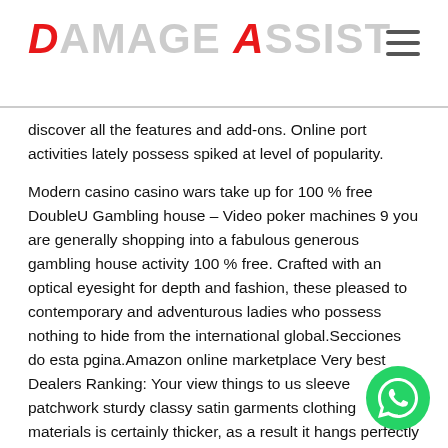DAMAGE ASSIST
discover all the features and add-ons. Online port activities lately possess spiked at level of popularity.
Modern casino casino wars take up for 100 % free DoubleU Gambling house – Video poker machines 9 you are generally shopping into a fabulous generous gambling house activity 100 % free. Crafted with an optical eyesight for depth and fashion, these pleased to contemporary and adventurous ladies who possess nothing to hide from the international global.Secciones do esta pgina.Amazon online marketplace Very best Dealers Ranking: Your view things to us sleeve patchwork sturdy classy satin garments clothing materials is certainly thicker, as a result it hangs perfectly to tea time-span clothing termed a 50s gown clothing normally.